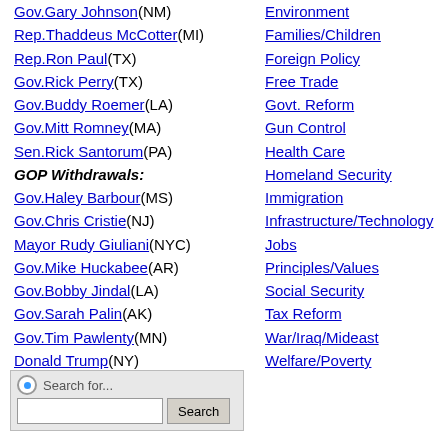Gov.Gary Johnson(NM)
Rep.Thaddeus McCotter(MI)
Rep.Ron Paul(TX)
Gov.Rick Perry(TX)
Gov.Buddy Roemer(LA)
Gov.Mitt Romney(MA)
Sen.Rick Santorum(PA)
GOP Withdrawals:
Gov.Haley Barbour(MS)
Gov.Chris Cristie(NJ)
Mayor Rudy Giuliani(NYC)
Gov.Mike Huckabee(AR)
Gov.Bobby Jindal(LA)
Gov.Sarah Palin(AK)
Gov.Tim Pawlenty(MN)
Donald Trump(NY)
Environment
Families/Children
Foreign Policy
Free Trade
Govt. Reform
Gun Control
Health Care
Homeland Security
Immigration
Infrastructure/Technology
Jobs
Principles/Values
Social Security
Tax Reform
War/Iraq/Mideast
Welfare/Poverty